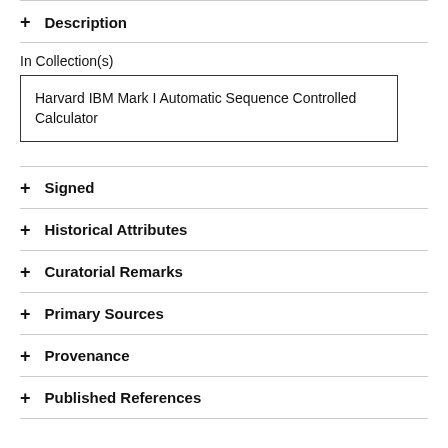+ Description
In Collection(s)
Harvard IBM Mark I Automatic Sequence Controlled Calculator
+ Signed
+ Historical Attributes
+ Curatorial Remarks
+ Primary Sources
+ Provenance
+ Published References